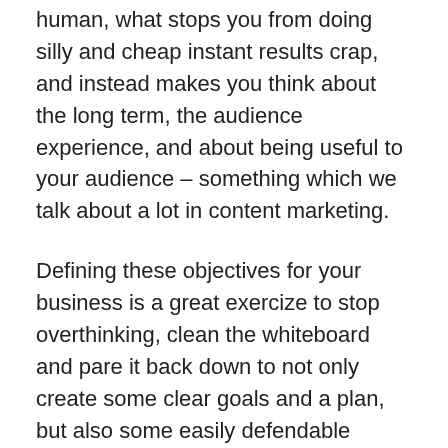human, what stops you from doing silly and cheap instant results crap, and instead makes you think about the long term, the audience experience, and about being useful to your audience – something which we talk about a lot in content marketing.
Defining these objectives for your business is a great exercize to stop overthinking, clean the whiteboard and pare it back down to not only create some clear goals and a plan, but also some easily defendable criteria for when the business comes up with some great ideas on what you should be doing in marketing.